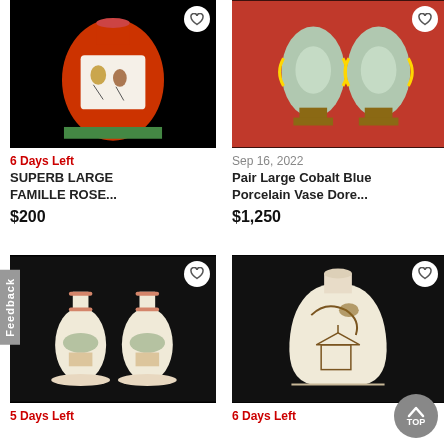[Figure (photo): Superb large Famille Rose Chinese vase with red background and painted figures, on black background]
6 Days Left
SUPERB LARGE FAMILLE ROSE...
$200
[Figure (photo): Pair of large cobalt blue porcelain vase dore with gold handles on red fabric background]
Sep 16, 2022
Pair Large Cobalt Blue Porcelain Vase Dore...
$1,250
[Figure (photo): Pair of Japanese Satsuma style vases with landscape paintings on black background]
5 Days Left
[Figure (photo): Single Japanese Satsuma style vase with bird and floral relief decoration on black background]
6 Days Left